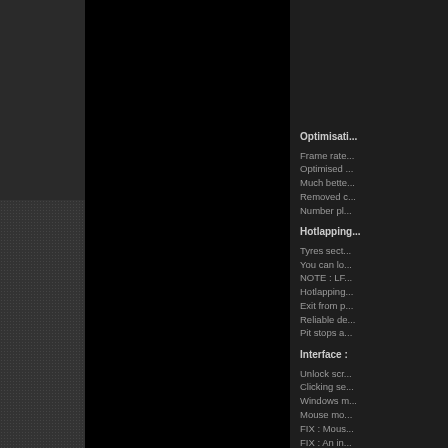[Figure (photo): Dark background page with three vertical strips: a dark gray textured strip on the left, a black strip in the middle, a dark gray strip on the right center, and text content visible on the far right edge showing partial release notes for a racing game, with sections on Optimisation, Hotlapping, Interface, and Graphics.]
Optimisation
Frame rate
Optimised
Much bette
Removed c
Number pl
Hotlapping
Tyres sect
You can lo
NOTE : LF
Hotlapping
Exit from p
Reliable de
Pit stops a
Interface
Unlock scr
Clicking se
Windows m
Mouse mo
FIX : Mous
FIX : An in
FIX : Meet
FIX : Occa
Graphics a